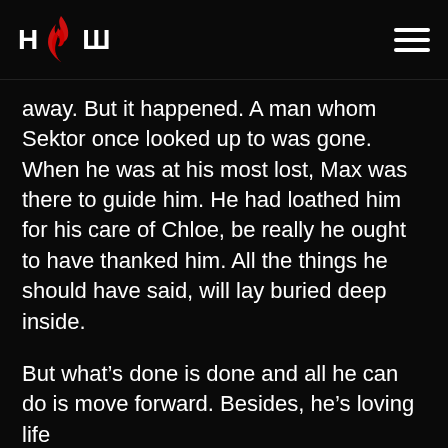HOW (logo with flame icon and hamburger menu)
away. But it happened. A man whom Sektor once looked up to was gone. When he was at his most lost, Max was there to guide him. He had loathed him for his care of Chloe, be really he ought to have thanked him. All the things he should have said, will lay buried deep inside.
But what's done is done and all he can do is move forward. Besides, he's loving life